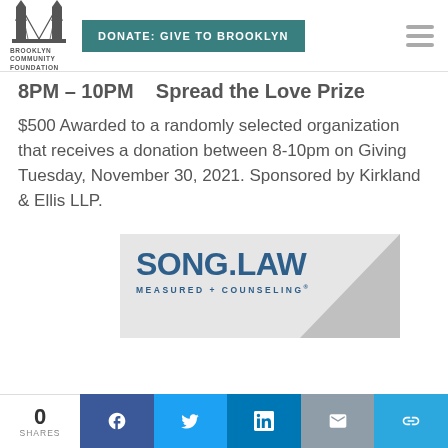[Figure (logo): Brooklyn Community Foundation logo with bridge icon and text]
DONATE: GIVE TO BROOKLYN
8PM – 10PM   Spread the Love Prize
$500 Awarded to a randomly selected organization that receives a donation between 8-10pm on Giving Tuesday, November 30, 2021. Sponsored by Kirkland & Ellis LLP.
[Figure (logo): Song.Law advertisement banner: SONG.LAW MEASURED + COUNSELING®]
0 SHARES